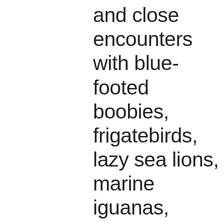and close encounters with blue-footed boobies, frigatebirds, lazy sea lions, marine iguanas, albatrosses and fast-swimming penguins, sharks and marine turtles next to you in the snorkeling or diving activities. Other optional activities include glass-bottom boat rides and kayaking for more relaxed marine sightseeing.  All our guests will return to the